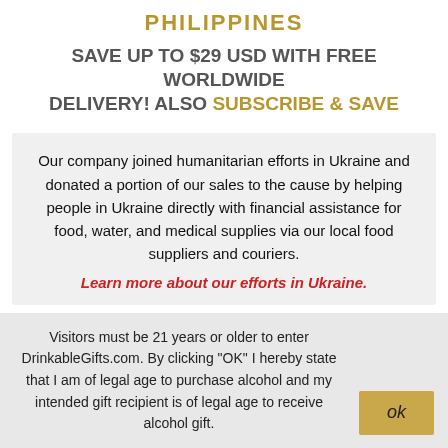PHILIPPINES
SAVE UP TO $29 USD WITH FREE WORLDWIDE DELIVERY! ALSO SUBSCRIBE & SAVE
Our company joined humanitarian efforts in Ukraine and donated a portion of our sales to the cause by helping people in Ukraine directly with financial assistance for food, water, and medical supplies via our local food suppliers and couriers. Learn more about our efforts in Ukraine.
Visitors must be 21 years or older to enter DrinkableGifts.com. By clicking "OK" I hereby state that I am of legal age to purchase alcohol and my intended gift recipient is of legal age to receive alcohol gift.